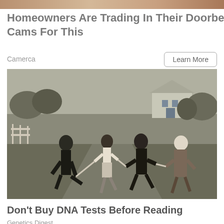[Figure (photo): Partial top image of a food/texture photo, cropped at top of page]
Homeowners Are Trading In Their Doorbell Cams For This
Camerca
Learn More
[Figure (photo): Black and white vintage photo of two couples running hand-in-hand down a rural road, with a house and trees in the background]
Don't Buy DNA Tests Before Reading
Genetics Digest
[Figure (photo): Partial bottom image showing diagonal striped lines, cropped at bottom of page]